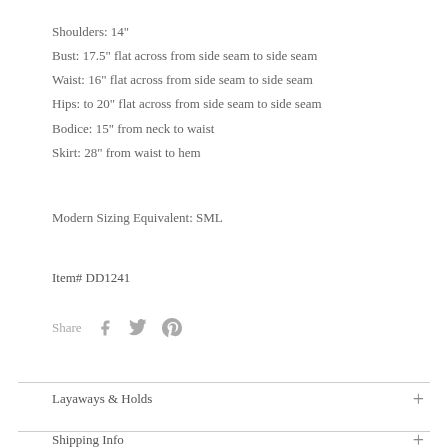Shoulders: 14"
Bust: 17.5" flat across from side seam to side seam
Waist: 16" flat across from side seam to side seam
Hips: to 20" flat across from side seam to side seam
Bodice: 15" from neck to waist
Skirt: 28" from waist to hem
Modern Sizing Equivalent: SML
Item# DD1241
Share
Layaways & Holds
Shipping Info